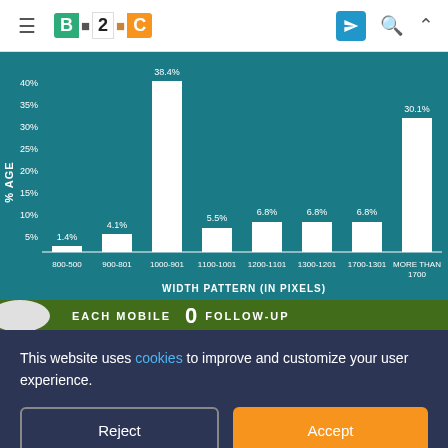B2C website navigation bar
[Figure (histogram): Width Pattern (In Pixels)]
This website uses cookies to improve and customize your user experience.
Reject
Accept
WITHIN AN HOUR